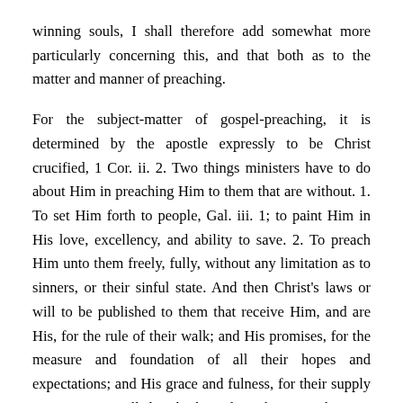winning souls, I shall therefore add somewhat more particularly concerning this, and that both as to the matter and manner of preaching.
For the subject-matter of gospel-preaching, it is determined by the apostle expressly to be Christ crucified, 1 Cor. ii. 2. Two things ministers have to do about Him in preaching Him to them that are without. 1. To set Him forth to people, Gal. iii. 1; to paint Him in His love, excellency, and ability to save. 2. To preach Him unto them freely, fully, without any limitation as to sinners, or their sinful state. And then Christ's laws or will to be published to them that receive Him, and are His, for the rule of their walk; and His promises, for the measure and foundation of all their hopes and expectations; and His grace and fulness, for their supply in every case, till they be brought to heaven. This was the simplicity of the gospel that remained but a little while in the Christian church after our dear apostle. I mean as